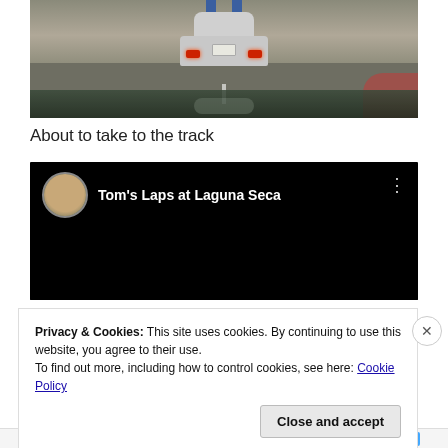[Figure (photo): Rear view from a car following a silver Ford Mustang Shelby with blue racing stripes on a race track, with red track markings visible on the right. View through windshield.]
About to take to the track
[Figure (screenshot): YouTube video embed with black background showing channel avatar (man with glasses) and title 'Tom's Laps at Laguna Seca' with a three-dot menu icon.]
Privacy & Cookies: This site uses cookies. By continuing to use this website, you agree to their use.
To find out more, including how to control cookies, see here: Cookie Policy
Close and accept